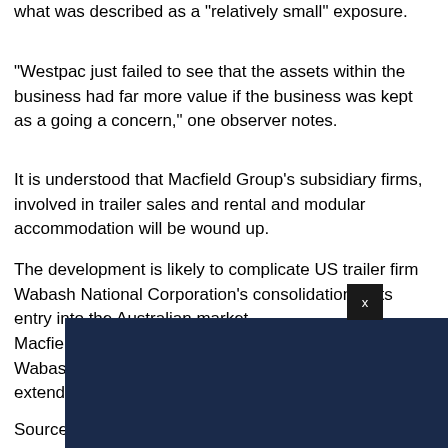what was described as a "relatively small" exposure.
"Westpac just failed to see that the assets within the business had far more value if the business was kept as a going a concern," one observer notes.
It is understood that Macfield Group’s subsidiary firms, involved in trailer sales and rental and modular accommodation will be wound up.
The development is likely to complicate US trailer firm Wabash National Corporation’s consolidation of its entry into the Australian market.
Macfield had an exclusive deal to import and market Wabash’s ArcticLite light refrigerated trailer that was extended to the end of last year.
Sources say lead times for testing the trailers over the past year we